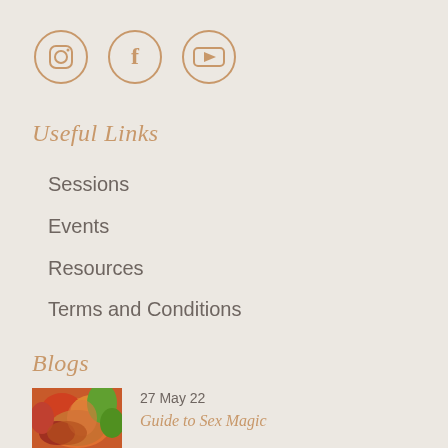[Figure (illustration): Three social media icons in circles: Instagram, Facebook, YouTube, in a warm tan/gold color]
Useful Links
Sessions
Events
Resources
Terms and Conditions
Blogs
[Figure (illustration): Colorful painting of intertwined figures in warm red, orange, and green tones]
27 May 22
Guide to Sex Magic